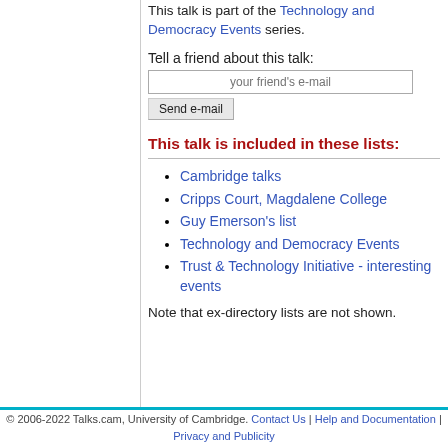This talk is part of the Technology and Democracy Events series.
Tell a friend about this talk:
your friend's e-mail
Send e-mail
This talk is included in these lists:
Cambridge talks
Cripps Court, Magdalene College
Guy Emerson's list
Technology and Democracy Events
Trust & Technology Initiative - interesting events
Note that ex-directory lists are not shown.
© 2006-2022 Talks.cam, University of Cambridge. Contact Us | Help and Documentation | Privacy and Publicity